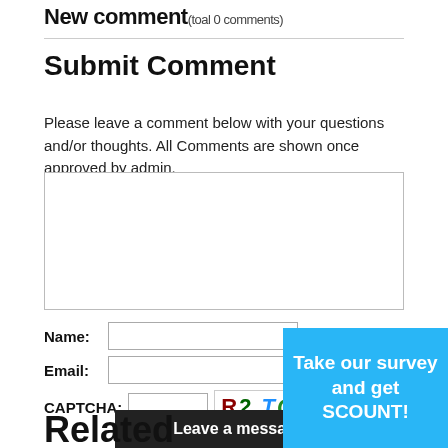New Comment (toal 0 comments)
Submit Comment
Please leave a comment below with your questions and/or thoughts. All Comments are shown once approved by admin.
[Figure (screenshot): Comment text area input box]
Name: * Email: * CAPTCHA:
[Figure (screenshot): CAPTCHA image showing R2 T Q in colored stylized letters]
[Figure (screenshot): Submit button in blue]
[Figure (screenshot): Leave a message popup bar in black]
[Figure (screenshot): Take our survey and get DISCOUNT! popup in light blue]
Related